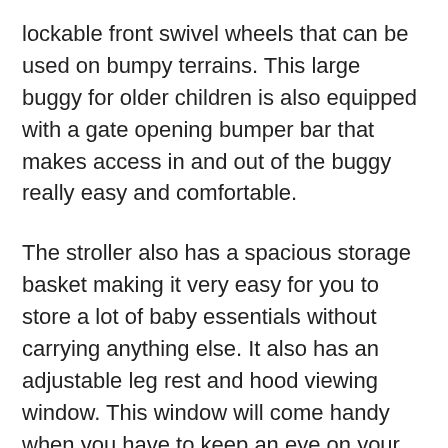lockable front swivel wheels that can be used on bumpy terrains. This large buggy for older children is also equipped with a gate opening bumper bar that makes access in and out of the buggy really easy and comfortable.
The stroller also has a spacious storage basket making it very easy for you to store a lot of baby essentials without carrying anything else. It also has an adjustable leg rest and hood viewing window. This window will come handy when you have to keep an eye on your baby from time to time without disturbing them while they're sleeping. Or you could play peek-a-boo! The Bubba Baby Discovery Max Stroller has 3 shoulder height positions in the fully adjustable safety that give added comfort and support. Its compact fold technology will also make it easier to store